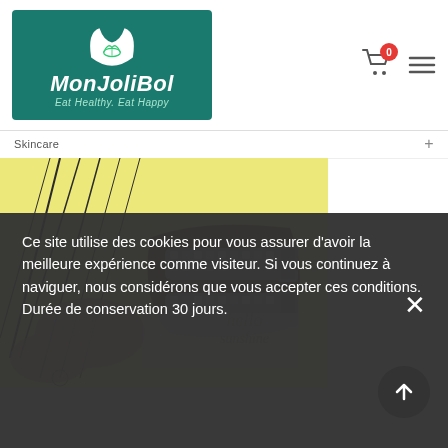[Figure (logo): MonJoliBol logo — teal background with cat/leaf icon, text 'MonJoliBol Eat Healthy. Eat Happy']
Skincare +
[Figure (photo): Product photo — sandals/Birkenstock-style shoes with rhinestone straps on yellow background with palm leaves]
Ce site utilise des cookies pour vous assurer d'avoir la meilleure expérience comme visiteur. Si vous continuez à naviguer, nous considérons que vous accepter ces conditions. Durée de conservation 30 jours.